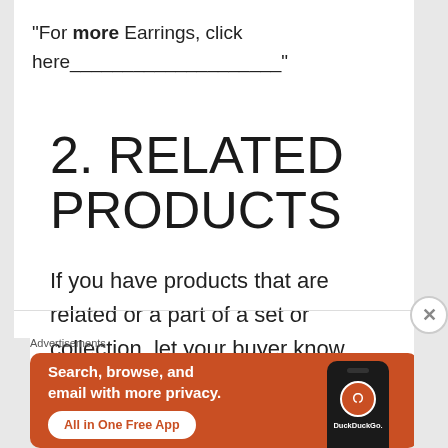“For more Earrings, click here____________________”
2. RELATED PRODUCTS
If you have products that are related or a part of a set or collection, let your buyer know.
Advertisements
[Figure (screenshot): DuckDuckGo advertisement banner with orange background. Text: 'Search, browse, and email with more privacy. All in One Free App' with a phone graphic showing the DuckDuckGo logo and name.]